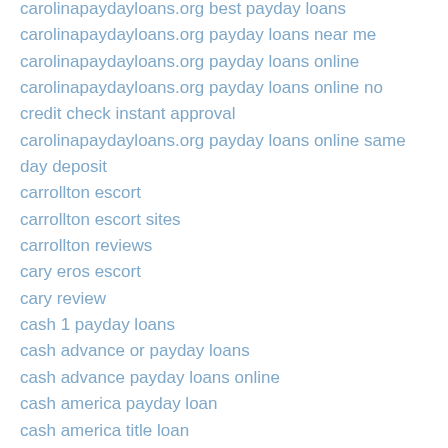carolinapaydayloans.org best payday loans
carolinapaydayloans.org payday loans near me
carolinapaydayloans.org payday loans online
carolinapaydayloans.org payday loans online no credit check instant approval
carolinapaydayloans.org payday loans online same day deposit
carrollton escort
carrollton escort sites
carrollton reviews
cary eros escort
cary review
cash 1 payday loans
cash advance or payday loans
cash advance payday loans online
cash america payday loan
cash america title loan